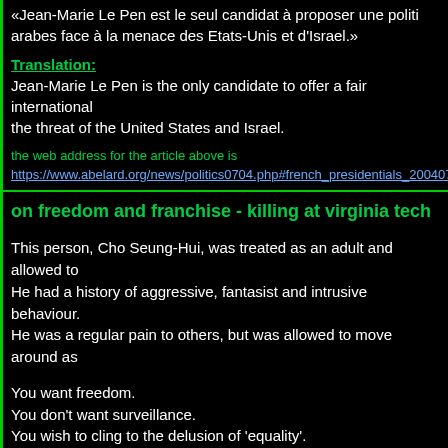«Jean-Marie Le Pen est le seul candidat à proposer une politi... arabes face à la menace des Etats-Unis et d'Israel.»
Translation: Jean-Marie Le Pen is the only candidate to offer a fair international... the threat of the United States and Israel.
the web address for the article above is https://www.abelard.org/news/politics0704.php#french_presidentials_200407
on freedom and franchise - killing at virginia tech
This person, Cho Seung-Hui, was treated as an adult and allowed to... He had a history of aggressive, fantasist and intrusive behaviour. He was a regular pain to others, but was allowed to move around as...
You want freedom.
You don't want surveillance.
You wish to cling to the delusion of 'equality'.
Why is anyone surprised at this massacre?
Why is there any outrage when this is an obvious outcome of the 'p... live?
I can see annoyance at the outcome, or I can see the wish to run a s...